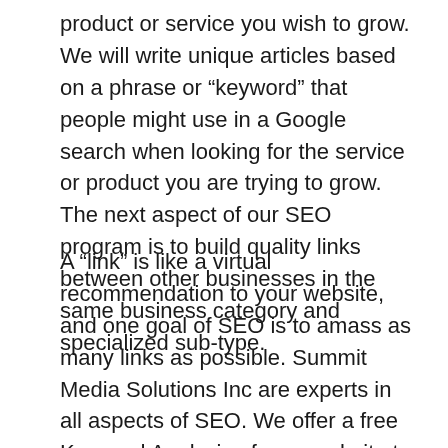product or service you wish to grow. We will write unique articles based on a phrase or “keyword” that people might use in a Google search when looking for the service or product you are trying to grow. The next aspect of our SEO program is to build quality links between other businesses in the same business category and specialized sub-type.
A “link” is like a virtual recommendation to your website, and one goal of SEO is to amass as many links as possible. Summit Media Solutions Inc are experts in all aspects of SEO. We offer a free Keyword Analysis of your website to help you reach the people most searching for your service or product.